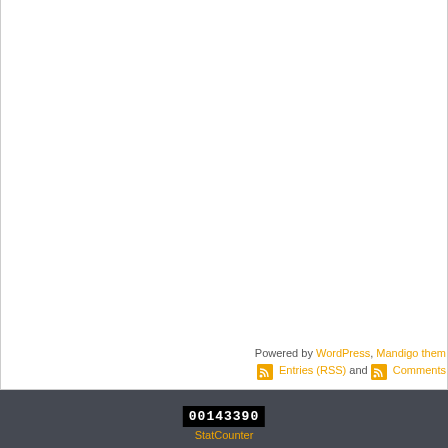Powered by WordPress, Mandigo theme. Entries (RSS) and Comments
[Figure (screenshot): StatCounter widget showing visit count 00143390 with orange StatCounter label below]
StatCounter